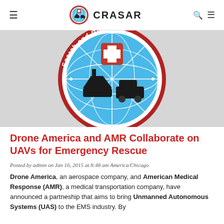CRASAR
[Figure (logo): CRASAR circular logo — globe with ships and vehicles, red border with 'Center for Robot-Assisted Search and Rescue' text on grey background]
Drone America and AMR Collaborate on UAVs for Emergency Rescue
Posted by admin on Jan 16, 2015 at 8:48 am America/Chicago
Drone America, an aerospace company, and American Medical Response (AMR), a medical transportation company, have announced a partneship that aims to bring Unmanned Autonomous Systems (UAS) to the EMS industry. By